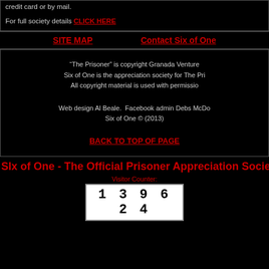credit card or by mail.

For full society details CLICK HERE
SITE MAP    Contact Six of One
“The Prisoner” is copyright Granada Venture
Six of One is the appreciation society for The Pri
All copyright material is used with permissio

Web design Al Beale.  Facebook admin Debs McDo
Six of One © (2013)

BACK TO TOP OF PAGE
SIx of One - The Official Prisoner Appreciation Society
Visitor Counter:
1 3 9 6 2 4